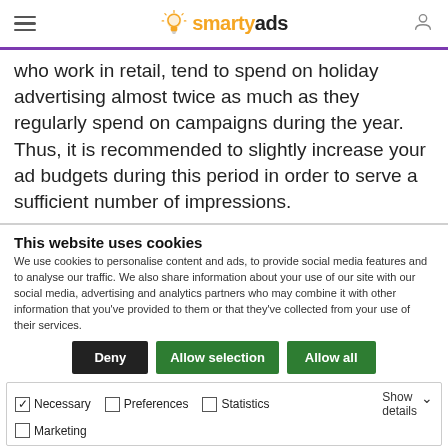smartyads
who work in retail, tend to spend on holiday advertising almost twice as much as they regularly spend on campaigns during the year. Thus, it is recommended to slightly increase your ad budgets during this period in order to serve a sufficient number of impressions.
This website uses cookies
We use cookies to personalise content and ads, to provide social media features and to analyse our traffic. We also share information about your use of our site with our social media, advertising and analytics partners who may combine it with other information that you've provided to them or that they've collected from your use of their services.
Deny | Allow selection | Allow all
Necessary  Preferences  Statistics  Marketing  Show details